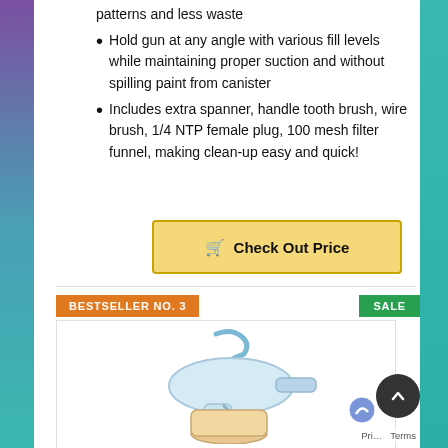patterns and less waste
Hold gun at any angle with various fill levels while maintaining proper suction and without spilling paint from canister
Includes extra spanner, handle tooth brush, wire brush, 1/4 NTP female plug, 100 mesh filter funnel, making clean-up easy and quick!
Check Out Price
BESTSELLER NO. 3
SALE
[Figure (photo): Paint spray gun product photo showing a spray gun with canister, displayed against a light background]